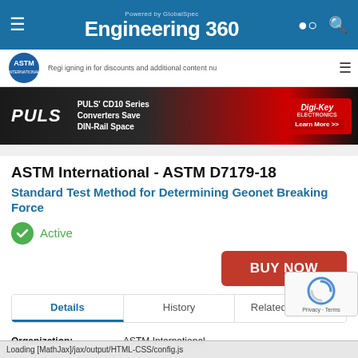Powered by GlobalSpec Engineering 360
[Figure (screenshot): PULS CD10 Series Converters Save DIN-Rail Space advertisement banner with Digi-Key logo and Learn More button]
ASTM International - ASTM D7179-18
Standard Test Method for Determining Geonet Breaking Force
Active
BUY NOW
Details | History | Related Products
| Field | Value |
| --- | --- |
| Organization: | ASTM International |
| Publication Date: | 1 July 2018 |
Loading [MathJax]/jax/output/HTML-CSS/config.js